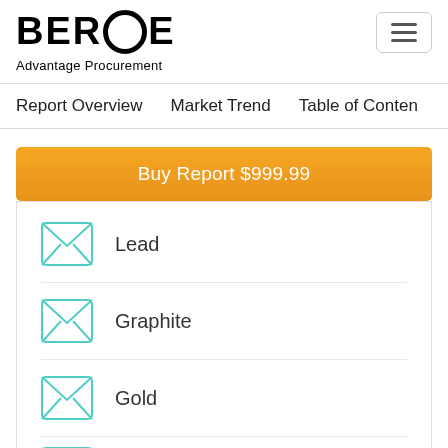BEROE Advantage Procurement
Report Overview   Market Trend   Table of Contents
Buy Report $999.99
Lead
Graphite
Gold